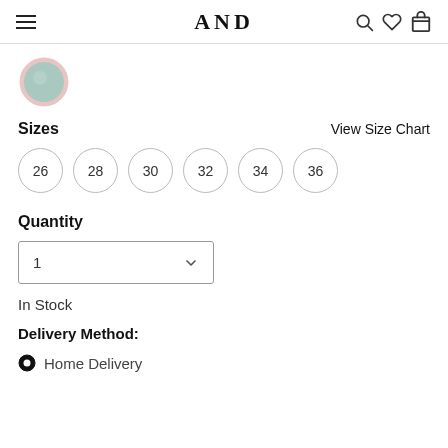AND
[Figure (illustration): Small circular color swatch with teal/mint color and pinkish border]
Sizes
View Size Chart
26  28  30  32  34  36
Quantity
1
In Stock
Delivery Method:
Home Delivery